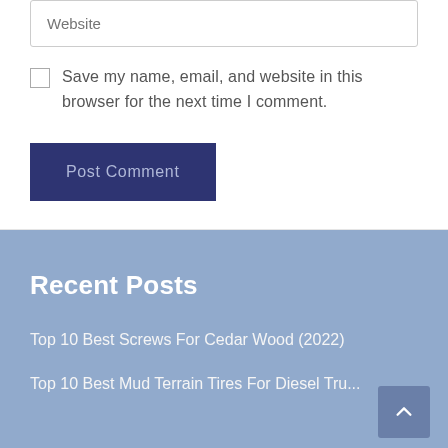Website
Save my name, email, and website in this browser for the next time I comment.
Post Comment
Recent Posts
Top 10 Best Screws For Cedar Wood (2022)
Top 10 Best Mud Terrain Tires For Diesel Trucks With Reviews Guide (2022)